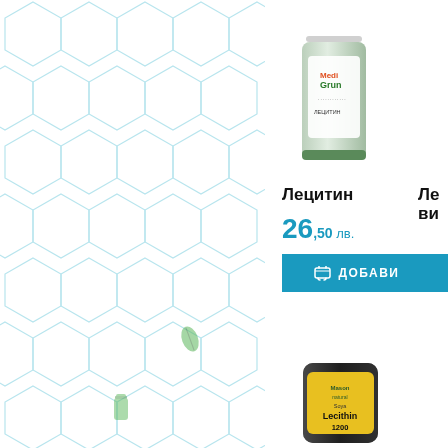[Figure (illustration): Left panel with hexagonal honeycomb pattern background in light blue/teal on white, with small green leaf and bottle decorative icons]
[Figure (photo): MediGrun Lецитин supplement bottle - small white/green cylindrical container]
Лецитин
26,50 лв.
ДОБАВИ
Лецитин ви...
[Figure (photo): Mason Natural Soya Lecithin 1200 supplement bottle - dark container with yellow label, partially visible at bottom]